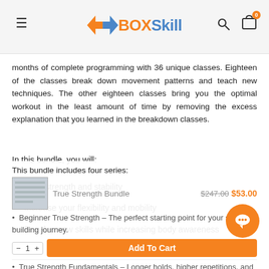BOXSkill navigation bar with hamburger menu, logo, search and cart icons
months of complete programming with 36 unique classes. Eighteen of the classes break down movement patterns and teach new techniques. The other eighteen classes bring you the optimal workout in the least amount of time by removing the excess explanation that you learned in the breakdown classes.
In this bundle, you will:
Build strength and stability
Increase your flexibility and mobility
Develop new skills while increasing body awareness
This bundle includes four series:
True Strength Bundle  $247.00 $53.00
Beginner True Strength – The perfect starting point for your strength-building journey.
True Strength Fundamentals – Longer holds, higher repetitions, and more challenging movements designed to